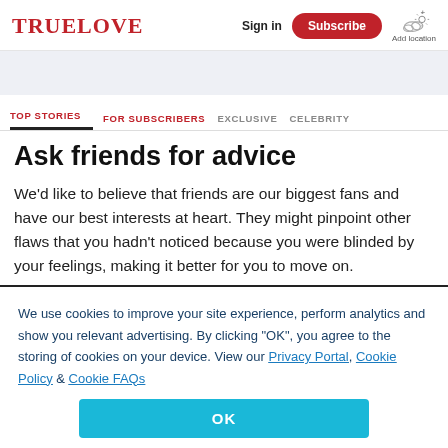TRUELOVE | Sign in | Subscribe | Add location
TOP STORIES  FOR SUBSCRIBERS  EXCLUSIVE  CELEBRITY
Ask friends for advice
We'd like to believe that friends are our biggest fans and have our best interests at heart. They might pinpoint other flaws that you hadn't noticed because you were blinded by your feelings, making it better for you to move on.
We use cookies to improve your site experience, perform analytics and show you relevant advertising. By clicking "OK", you agree to the storing of cookies on your device. View our Privacy Portal, Cookie Policy & Cookie FAQs
[Figure (other): OK button for cookie consent]